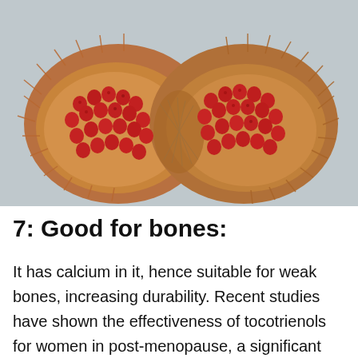[Figure (photo): Two open spiky brown seed pods side by side, each containing numerous small red seeds/berries, photographed on a light gray surface.]
7: Good for bones:
It has calcium in it, hence suitable for weak bones, increasing durability. Recent studies have shown the effectiveness of tocotrienols for women in post-menopause, a significant